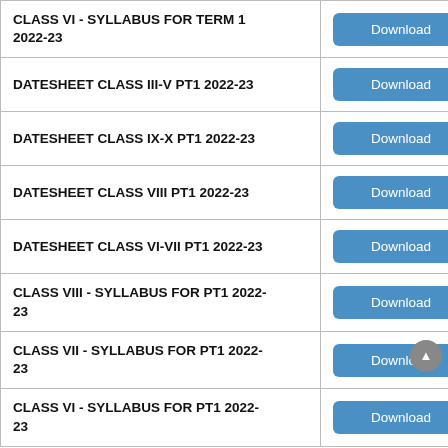| Document | Action |
| --- | --- |
| CLASS VI - SYLLABUS FOR TERM 1 2022-23 | Download |
| DATESHEET CLASS III-V PT1 2022-23 | Download |
| DATESHEET CLASS IX-X PT1 2022-23 | Download |
| DATESHEET CLASS VIII PT1 2022-23 | Download |
| DATESHEET CLASS VI-VII PT1 2022-23 | Download |
| CLASS VIII - SYLLABUS FOR PT1 2022-23 | Download |
| CLASS VII - SYLLABUS FOR PT1 2022-23 | Download |
| CLASS VI - SYLLABUS FOR PT1 2022-23 | Download |